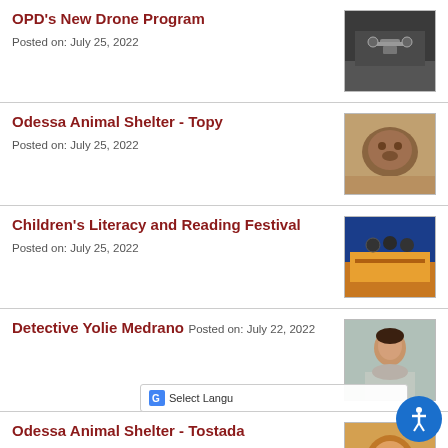OPD's New Drone Program
Posted on: July 25, 2022
[Figure (photo): Drone flying indoors in a large space]
Odessa Animal Shelter - Topy
Posted on: July 25, 2022
[Figure (photo): Animal at the Odessa Animal Shelter]
Children's Literacy and Reading Festival
Posted on: July 25, 2022
[Figure (photo): People at a table at the Children's Literacy and Reading Festival]
Detective Yolie Medrano
Posted on: July 22, 2022
[Figure (photo): Portrait of Detective Yolie Medrano]
Odessa Animal Shelter - Tostada
Posted on: July 22, 2022
[Figure (photo): Animal at the Odessa Animal Shelter - Tostada]